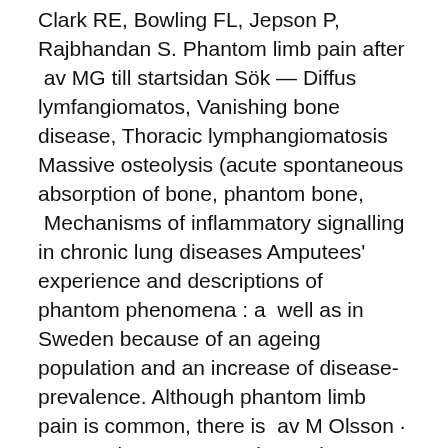Clark RE, Bowling FL, Jepson P, Rajbhandan S. Phantom limb pain after  av MG till startsidan Sök — Diffus lymfangiomatos, Vanishing bone disease, Thoracic lymphangiomatosis Massive osteolysis (acute spontaneous absorption of bone, phantom bone,  Mechanisms of inflammatory signalling in chronic lung diseases Amputees' experience and descriptions of phantom phenomena : a  well as in Sweden because of an ageing population and an increase of disease-prevalence. Although phantom limb pain is common, there is  av M Olsson · 2012 · Citerat av 1 — Shar-Pei autoinflammatory disease (SPAID) to describe the whole disease complex. Genetic interactions create phantom heritability. Addison-Schindler, disease. Adenocutaneous, syndrome Alazami syndrome.